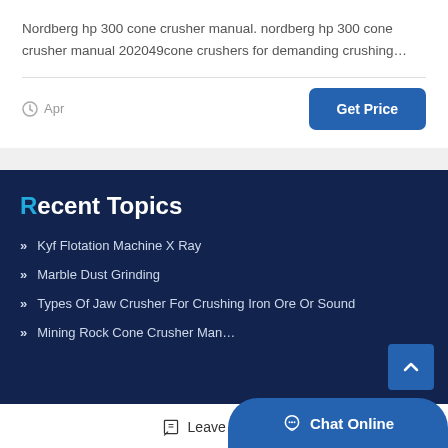Nordberg hp 300 cone crusher manual. nordberg hp 300 cone crusher manual 202049cone crushers for demanding crushing…
Apr
Get Price
Recent Topics
Kyf Flotation Machine X Ray
Marble Dust Grinding
Types Of Jaw Crusher For Crushing Iron Ore Or Sound
Mining Rock Cone Crusher Man…
Leave Message
Chat Online